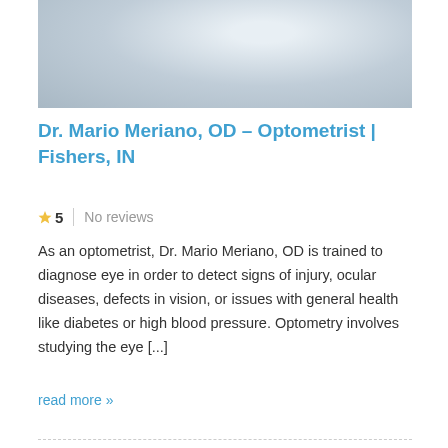[Figure (photo): Blurred photo of a person in a white coat, likely a doctor or optometrist]
Dr. Mario Meriano, OD – Optometrist | Fishers, IN
5  No reviews
As an optometrist, Dr. Mario Meriano, OD is trained to diagnose eye in order to detect signs of injury, ocular diseases, defects in vision, or issues with general health like diabetes or high blood pressure. Optometry involves studying the eye [...]
read more »